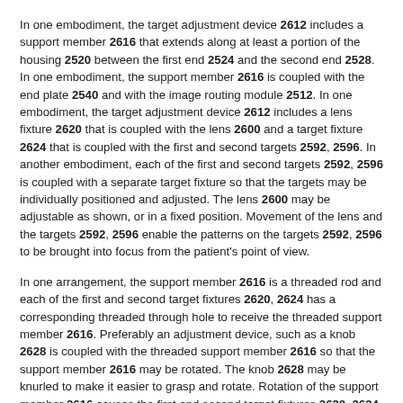In one embodiment, the target adjustment device 2612 includes a support member 2616 that extends along at least a portion of the housing 2520 between the first end 2524 and the second end 2528. In one embodiment, the support member 2616 is coupled with the end plate 2540 and with the image routing module 2512. In one embodiment, the target adjustment device 2612 includes a lens fixture 2620 that is coupled with the lens 2600 and a target fixture 2624 that is coupled with the first and second targets 2592, 2596. In another embodiment, each of the first and second targets 2592, 2596 is coupled with a separate target fixture so that the targets may be individually positioned and adjusted. The lens 2600 may be adjustable as shown, or in a fixed position. Movement of the lens and the targets 2592, 2596 enable the patterns on the targets 2592, 2596 to be brought into focus from the patient's point of view.
In one arrangement, the support member 2616 is a threaded rod and each of the first and second target fixtures 2620, 2624 has a corresponding threaded through hole to receive the threaded support member 2616. Preferably an adjustment device, such as a knob 2628 is coupled with the threaded support member 2616 so that the support member 2616 may be rotated. The knob 2628 may be knurled to make it easier to grasp and rotate. Rotation of the support member 2616 causes the first and second target fixtures 2620, 2624 to translate on the support member 2616 along the position of the housing 2520. The movement of the first and second target